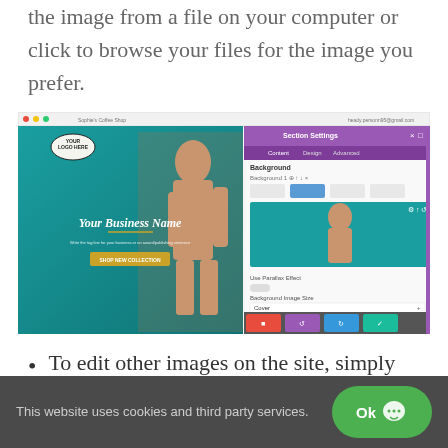the image from a file on your computer or click to browse your files for the image you prefer.
[Figure (screenshot): Screenshot of a website builder (Divi/WordPress) showing a webpage with a hero image of a woman with sunglasses and a Section Settings panel open on the right with Background settings, showing image upload options and position controls.]
To edit other images on the site, simply double-click the image and replace it with
This website uses cookies and third party services.